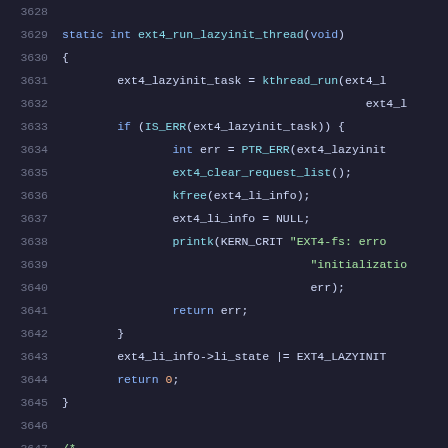[Figure (screenshot): Source code viewer showing C source code lines 3628–3648 of a Linux kernel file (ext4 lazy initialization thread function), with syntax highlighting on a dark background. Line numbers in gray, keywords in blue, function names in cyan, string literals in green.]